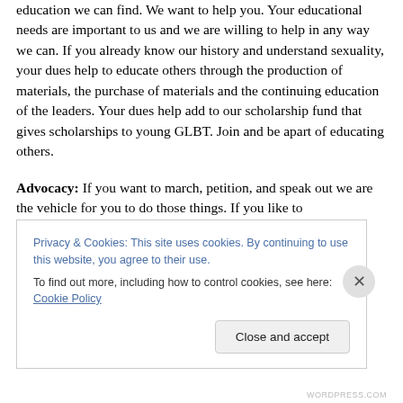education we can find. We want to help you. Your educational needs are important to us and we are willing to help in any way we can. If you already know our history and understand sexuality, your dues help to educate others through the production of materials, the purchase of materials and the continuing education of the leaders. Your dues help add to our scholarship fund that gives scholarships to young GLBT. Join and be apart of educating others.
Advocacy: If you want to march, petition, and speak out we are the vehicle for you to do those things. If you like to
Privacy & Cookies: This site uses cookies. By continuing to use this website, you agree to their use.
To find out more, including how to control cookies, see here: Cookie Policy